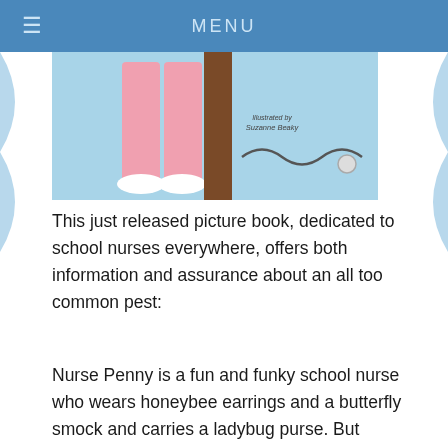MENU
[Figure (illustration): Book cover illustration showing pink pants, brown post, and wavy lines on a light blue background with text 'Illustrated by Suzanne Beaky']
This just released picture book, dedicated to school nurses everywhere, offers both information and assurance about an all too common pest:
Nurse Penny is a fun and funky school nurse who wears honeybee earrings and a butterfly smock and carries a ladybug purse. But there's one kind of bug she'd rather not have around. . .head lice! So she calls a special school assembly to talk about those pesky critters–what they look like, how to avoid them, and how to get rid of them. After all, lice are her area – not the...